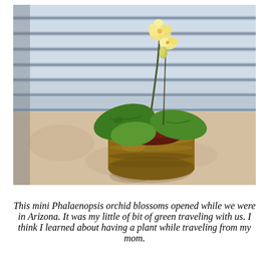[Figure (photo): A mini Phalaenopsis orchid in a round wooden pot sitting on a countertop in front of window blinds. The orchid has yellow-cream blossoms at the top and large green leaves. The pot is dark brown/golden wood with ridged bands. The countertop is a light beige/tan surface. Natural light streams through horizontal window blinds in the background.]
This mini Phalaenopsis orchid blossoms opened while we were in Arizona. It was my little of bit of green traveling with us. I think I learned about having a plant while traveling from my mom.